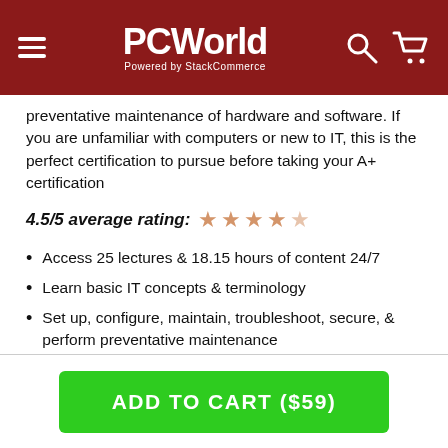PCWorld — Powered by StackCommerce
preventative maintenance of hardware and software. If you are unfamiliar with computers or new to IT, this is the perfect certification to pursue before taking your A+ certification
4.5/5 average rating: ★ ★ ★ ★ ★
Access 25 lectures & 18.15 hours of content 24/7
Learn basic IT concepts & terminology
Set up, configure, maintain, troubleshoot, secure, & perform preventative maintenance
Gain foundational knowledge required before taking on CompTIA+ certification
iCollege is an official CompTIA partner.
ADD TO CART ($59)